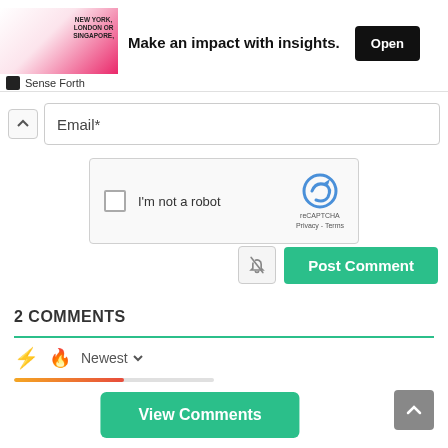[Figure (screenshot): Advertisement banner: image of person with text 'NEW YORK, LONDON OR SINGAPORE.' and tagline 'Make an impact with insights.' with an Open button. Sense Forth brand row below.]
Email*
[Figure (screenshot): reCAPTCHA widget with checkbox 'I'm not a robot', reCAPTCHA logo, Privacy and Terms links]
[Figure (screenshot): Notify (bell with slash) button and Post Comment green button]
2 COMMENTS
Newest ▾
View Comments